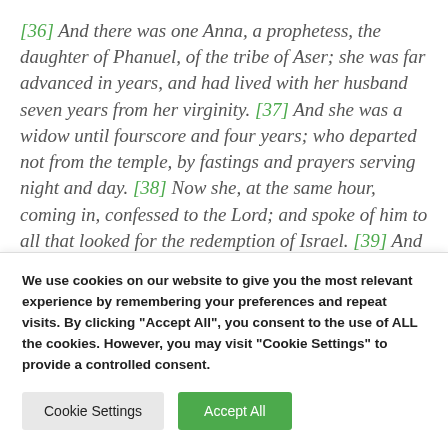[36] And there was one Anna, a prophetess, the daughter of Phanuel, of the tribe of Aser; she was far advanced in years, and had lived with her husband seven years from her virginity. [37] And she was a widow until fourscore and four years; who departed not from the temple, by fastings and prayers serving night and day. [38] Now she, at the same hour, coming in, confessed to the Lord; and spoke of him to all that looked for the redemption of Israel. [39] And after they had performed all things according to the law of the Lord, they returned
We use cookies on our website to give you the most relevant experience by remembering your preferences and repeat visits. By clicking "Accept All", you consent to the use of ALL the cookies. However, you may visit "Cookie Settings" to provide a controlled consent.